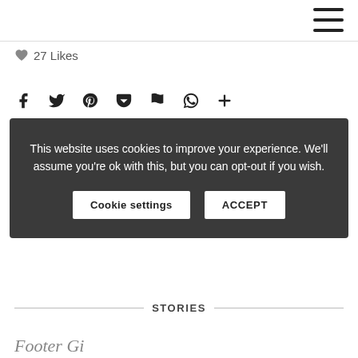27 Likes
[Figure (other): Row of social sharing icons: Facebook, Twitter, Pinterest, Pocket, Flag, WhatsApp, Plus]
This website uses cookies to improve your experience. We'll assume you're ok with this, but you can opt-out if you wish. [Cookie settings] [ACCEPT]
STORIES
Footer Gi...